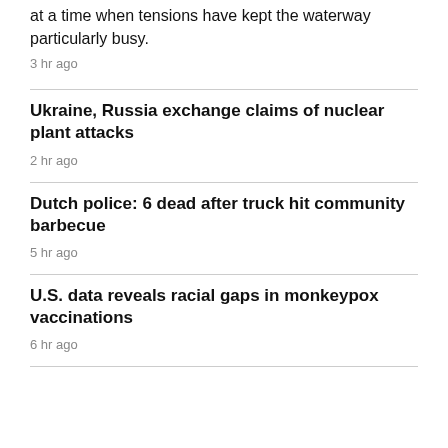at a time when tensions have kept the waterway particularly busy.
3 hr ago
Ukraine, Russia exchange claims of nuclear plant attacks
2 hr ago
Dutch police: 6 dead after truck hit community barbecue
5 hr ago
U.S. data reveals racial gaps in monkeypox vaccinations
6 hr ago